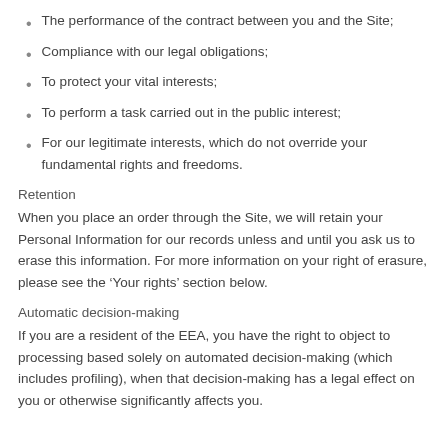The performance of the contract between you and the Site;
Compliance with our legal obligations;
To protect your vital interests;
To perform a task carried out in the public interest;
For our legitimate interests, which do not override your fundamental rights and freedoms.
Retention
When you place an order through the Site, we will retain your Personal Information for our records unless and until you ask us to erase this information. For more information on your right of erasure, please see the ‘Your rights’ section below.
Automatic decision-making
If you are a resident of the EEA, you have the right to object to processing based solely on automated decision-making (which includes profiling), when that decision-making has a legal effect on you or otherwise significantly affects you.